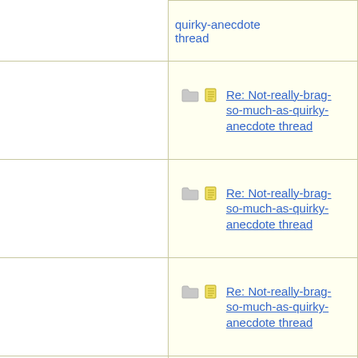| (indent) | Thread | Author |
| --- | --- | --- |
|  | quirky-anecdote thread |  |
| icons | Re: Not-really-brag-so-much-as-quirky-anecdote thread | Lovemyd |
| icons | Re: Not-really-brag-so-much-as-quirky-anecdote thread | aeh |
| icons | Re: Not-really-brag-so-much-as-quirky-anecdote thread | Mana |
| icons | Re: Not-really-brag-so-much-as-quirky-anecdote thread | LAF |
| icons | Re: Not-really-brag-so-much-as-quirky-anecdote thread | Madoosa |
| icons | Re: Not-really-brag-so-much-as-quirky-anecdote thread | KJP |